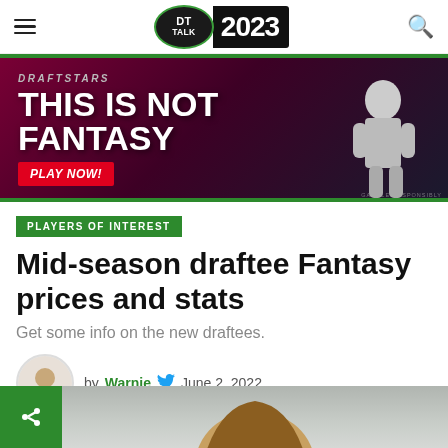DT TALK 2023
[Figure (photo): Draftstars advertisement banner: 'THIS IS NOT FANTASY' with athlete image and PLAY NOW button]
PLAYERS OF INTEREST
Mid-season draftee Fantasy prices and stats
Get some info on the new draftees.
by Warnie  June 2, 2022
[Figure (photo): Bottom portion showing player photo and share button]